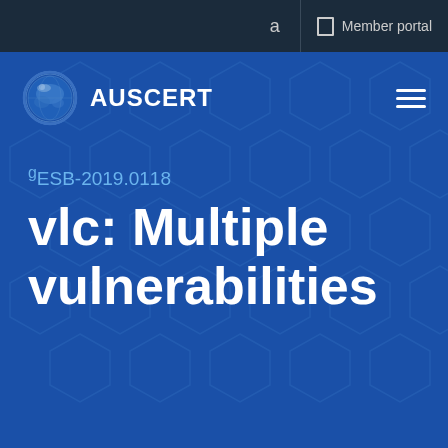a  Member portal
[Figure (logo): AusCERT globe logo with text AUSCERT]
gESB-2019.0118
vlc: Multiple vulnerabilities